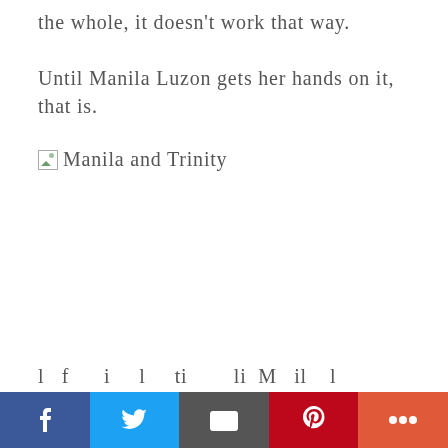the whole, it doesn't work that way.
Until Manila Luzon gets her hands on it, that is.
[Figure (photo): Broken image placeholder labeled 'Manila and Trinity']
...partially cut off text mentioning Manila...
Facebook | Twitter | Email | Pinterest | More